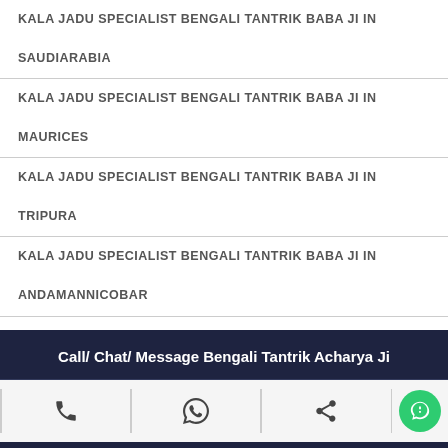KALA JADU SPECIALIST BENGALI TANTRIK BABA JI IN SAUDIARABIA
KALA JADU SPECIALIST BENGALI TANTRIK BABA JI IN MAURICES
KALA JADU SPECIALIST BENGALI TANTRIK BABA JI IN TRIPURA
KALA JADU SPECIALIST BENGALI TANTRIK BABA JI IN ANDAMANNICOBAR
KALA JADU SPECIALIST BENGALI TANTRIK BABA JI IN
Call/ Chat/ Message Bengali Tantrik Acharya Ji